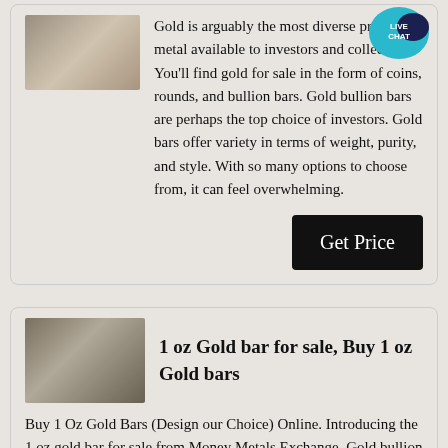[Figure (photo): Partial image of gold bars or gold-related product at top left of first card]
Gold is arguably the most diverse precious metal available to investors and collectors. You'll find gold for sale in the form of coins, rounds, and bullion bars. Gold bullion bars are perhaps the top choice of investors. Gold bars offer variety in terms of weight, purity, and style. With so many options to choose from, it can feel overwhelming.
[Figure (other): Live Chat speech bubble icon in teal/blue color with text LIVE CHAT]
Get Price
[Figure (photo): Photo of industrial facility or gold bar manufacturing environment]
1 oz Gold bar for sale, Buy 1 oz Gold bars
Buy 1 Oz Gold Bars (Design our Choice) Online. Introducing the 1 oz gold bar for sale from Money Metals Exchange. Gold bullion bars offer a strong investment advantage because they are a low premium way to own the metal. Available weights are 1 gram bars, 5 gram bars, 10